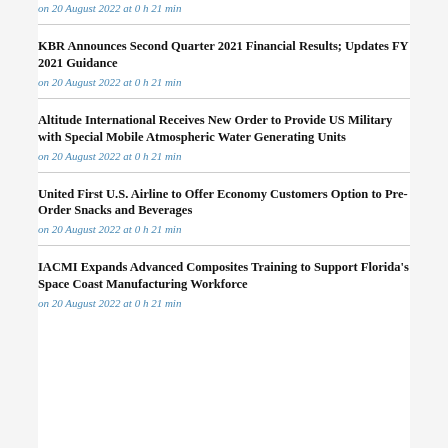on 20 August 2022 at 0 h 21 min
KBR Announces Second Quarter 2021 Financial Results; Updates FY 2021 Guidance
on 20 August 2022 at 0 h 21 min
Altitude International Receives New Order to Provide US Military with Special Mobile Atmospheric Water Generating Units
on 20 August 2022 at 0 h 21 min
United First U.S. Airline to Offer Economy Customers Option to Pre-Order Snacks and Beverages
on 20 August 2022 at 0 h 21 min
IACMI Expands Advanced Composites Training to Support Florida's Space Coast Manufacturing Workforce
on 20 August 2022 at 0 h 21 min